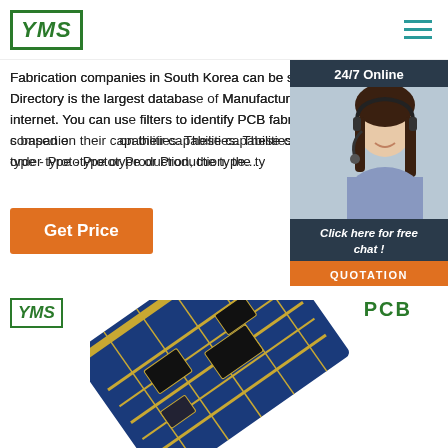YMS logo and hamburger menu
Fabrication companies in South Korea can be seen below. PCB Directory is the largest database of Manufacturers on the internet. You can use filters to identify PCB fabrication companies based on their capabilities. These capabilities include order type - Prototype or Production, the ty...
[Figure (photo): Orange 'Get Price' button]
[Figure (photo): 24/7 Online chat widget with operator photo, 'Click here for free chat!' text, and orange QUOTATION button]
[Figure (photo): YMS logo (lower), PCB text label, and blue PCB circuit board image in lower section]